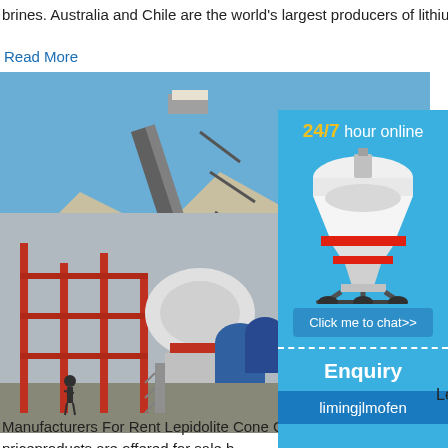brines. Australia and Chile are the world's largest producers of lithium.
Read More
[Figure (photo): Industrial conveyor belt over a large pile of rocks/minerals at a mining site]
lepidolite crusher manufacturers for sale
lepidolite crusher manufacturers for sale
[Figure (photo): Industrial crusher/processing machinery at a mining facility with red steel framework]
Lepidolite Crush...
Manufacturers For Rent Lepidolite Cone Cr... crusher price, cone crusher price Suppliers... crusher priceproducts are offered for sale b...
[Figure (illustration): Sidebar advertisement: 24/7 hour online, cone crusher machine image, Click me to chat>> button, Enquiry, limingjlmofen]